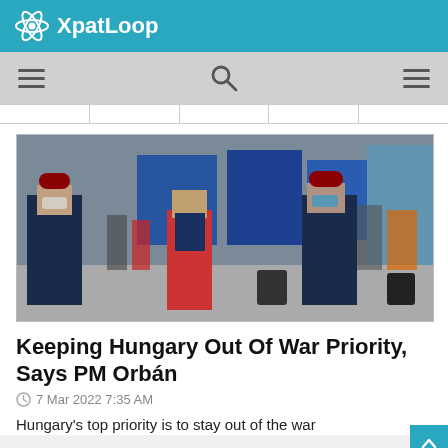XpatLoop
[Figure (photo): A crowd of people including uniformed officers wearing masks and civilians including a woman holding a child, at what appears to be a transit station or border crossing with blue structures in the background.]
Keeping Hungary Out Of War Priority, Says PM Orbán
7 Mar 2022 7:35 AM
Hungary's top priority is to stay out of the war